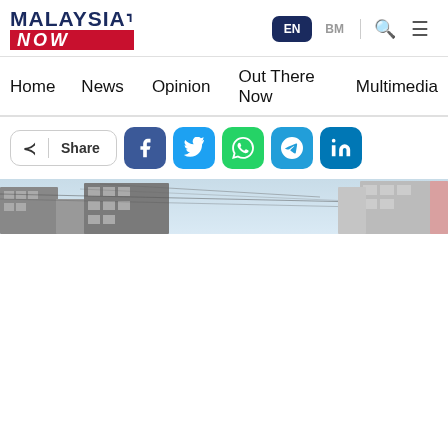[Figure (logo): MalaysiaNow logo — 'MALAYSIA' in dark navy with a tick mark, 'NOW' in white on red italic background]
EN  BM
Home  News  Opinion  Out There Now  Multimedia
Share
[Figure (screenshot): Partial photo of urban buildings and power lines against a light sky, lower portion is white (loading/cropped)]